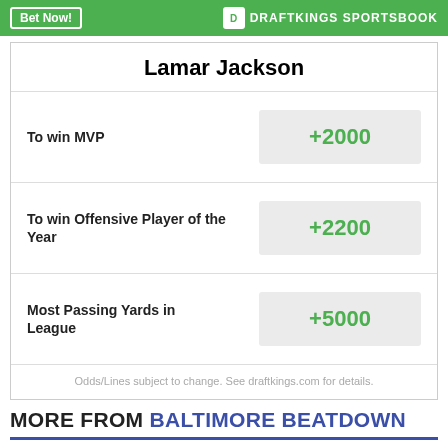Bet Now! | DRAFTKINGS SPORTSBOOK
Lamar Jackson
| Bet | Odds |
| --- | --- |
| To win MVP | +2000 |
| To win Offensive Player of the Year | +2200 |
| Most Passing Yards in League | +5000 |
Odds/Lines subject to change. See draftkings.com for details.
MORE FROM BALTIMORE BEATDOWN
Ravens Practice Report: Ronnie Stanley, Kyle Hamilton return
Ahead of contract talk moratorium, an 'improved offer' has been made to Lamar Jackson